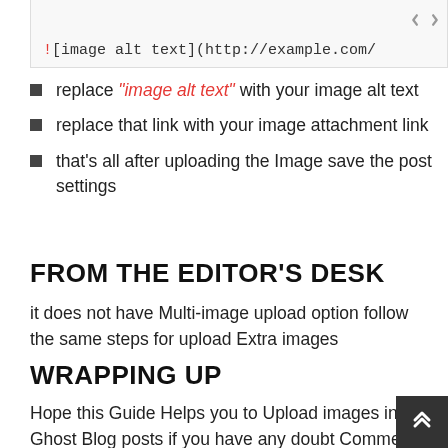[Figure (screenshot): Code box showing markdown image syntax: ![image alt text](http://example.com/ with a code icon in the top right corner]
replace "image alt text" with your image alt text
replace that link with your image attachment link
that's all after uploading the Image save the post settings
FROM THE EDITOR'S DESK
it does not have Multi-image upload option follow the same steps for upload Extra images
WRAPPING UP
Hope this Guide Helps you to Upload images in Ghost Blog posts if you have any doubt Comment Feel free to comment here I will Guide